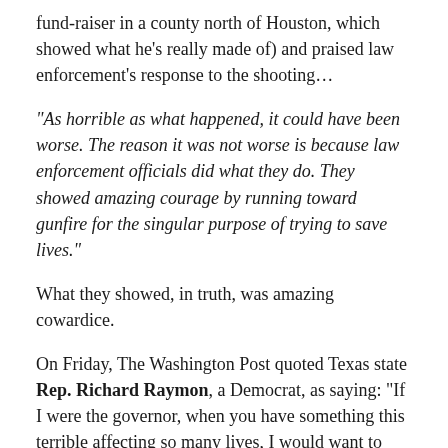fund-raiser in a county north of Houston, which showed what he's really made of) and praised law enforcement's response to the shooting…
“As horrible as what happened, it could have been worse. The reason it was not worse is because law enforcement officials did what they do. They showed amazing courage by running toward gunfire for the singular purpose of trying to save lives.”
What they showed, in truth, was amazing cowardice.
On Friday, The Washington Post quoted Texas state Rep. Richard Raymon, a Democrat, as saying: “If I were the governor, when you have something this terrible affecting so many lives, I would want to make sure my information is rock solid. You can’t fumble this one.”